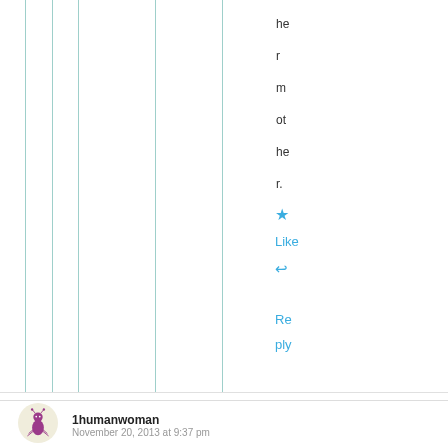her mother.
Like
Reply
[Figure (illustration): Avatar illustration of a purple ant-like character on a light yellow circular background]
1humanwoman
November 20, 2013 at 9:37 pm